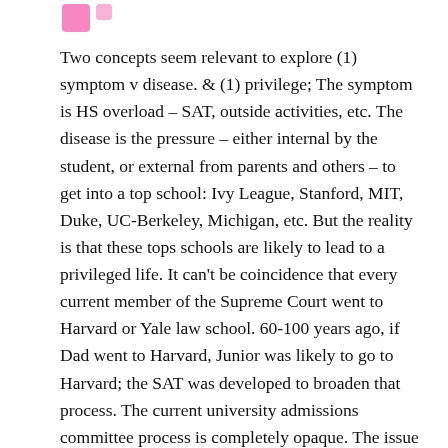[Figure (illustration): Pink decorative icon or logo element in the top-left area]
Two concepts seem relevant to explore (1) symptom v disease. & (1) privilege; The symptom is HS overload – SAT, outside activities, etc. The disease is the pressure – either internal by the student, or external from parents and others – to get into a top school: Ivy League, Stanford, MIT, Duke, UC-Berkeley, Michigan, etc. But the reality is that these tops schools are likely to lead to a privileged life. It can't be coincidence that every current member of the Supreme Court went to Harvard or Yale law school. 60-100 years ago, if Dad went to Harvard, Junior was likely to go to Harvard; the SAT was developed to broaden that process. The current university admissions committee process is completely opaque. The issue isn't HS student overload, but what is a better way to manage this most difficult